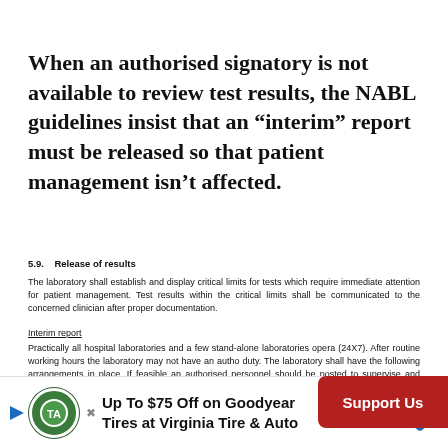When an authorised signatory is not available to review test results, the NABL guidelines insist that an “interim” report must be released so that patient management isn’t affected.
5.9. Release of results
The laboratory shall establish and display critical limits for tests which require immediate attention for patient management. Test results within the critical limits shall be communicated to the concerned clinician after proper documentation.
Interim report
Practically all hospital laboratories and a few stand-alone laboratories opera... (24X7). After routine working hours the laboratory may not have an autho... duty. The laboratory shall have the following arrangements in place. If feasible an authorised personnel should be posted to supervise and authorise release of urgent tests in the disciplines of Clinical Biochemistry, Clinical Pathology, Haematology and Microbiology that are required for immediate... report will be “Interi...